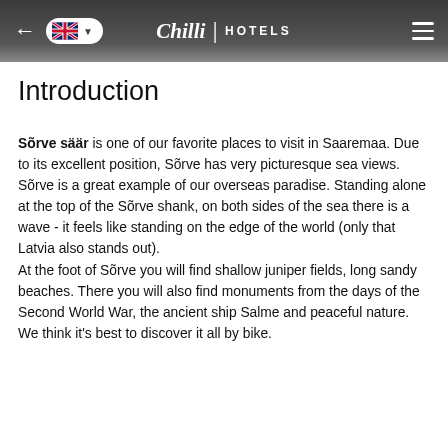Chilli HOTELS
Introduction
Sõrve säär is one of our favorite places to visit in Saaremaa. Due to its excellent position, Sõrve has very picturesque sea views. Sõrve is a great example of our overseas paradise. Standing alone at the top of the Sõrve shank, on both sides of the sea there is a wave - it feels like standing on the edge of the world (only that Latvia also stands out). At the foot of Sõrve you will find shallow juniper fields, long sandy beaches. There you will also find monuments from the days of the Second World War, the ancient ship Salme and peaceful nature. We think it's best to discover it all by bike.